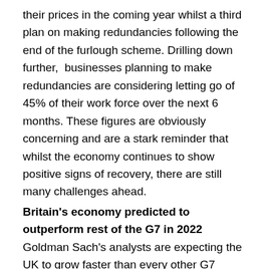their prices in the coming year whilst a third plan on making redundancies following the end of the furlough scheme. Drilling down further,  businesses planning to make redundancies are considering letting go of 45% of their work force over the next 6 months. These figures are obviously concerning and are a stark reminder that whilst the economy continues to show positive signs of recovery, there are still many challenges ahead.
Britain's economy predicted to outperform rest of the G7 in 2022
Goldman Sach's analysts are expecting the UK to grow faster than every other G7 nation in 2022. The banks experts are predicting...